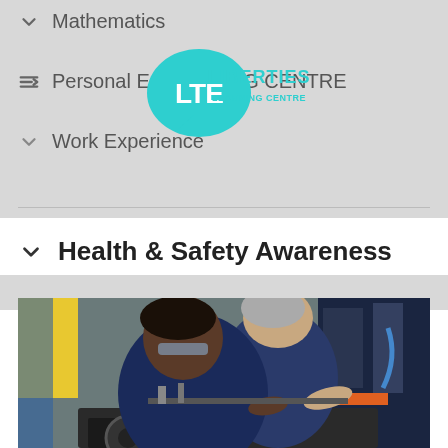Mathematics
Personal E... [SSAMING CENTRE]
[Figure (logo): LTE Liberties Learning Centre logo — teal speech-bubble brain icon with LTE text and 'LIBERTIES LEARNING CENTRE' wordmark]
Work Experience
Health & Safety Awareness
[Figure (photo): Two people in blue work overalls leaning over industrial machinery (lathe/CNC machine) in a workshop, inspecting it closely. Yellow equipment and industrial setting in background.]